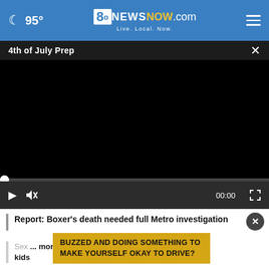95° | 8o NEWSNOW.com Live. Local. Now.
4th of July Prep
[Figure (screenshot): Black video player area, not playing (00:00)]
Report: Boxer's death needed full Metro investigation
BUZZED AND DOING SOMETHING TO MAKE YOURSELF OKAY TO DRIVE?
Sex... more kids